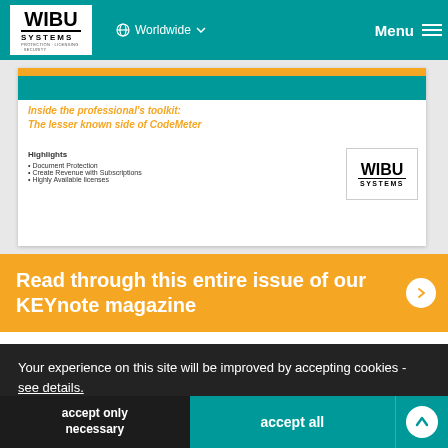[Figure (screenshot): WIBU-SYSTEMS website navigation bar with teal background, WIBU SYSTEMS logo in white box, Worldwide dropdown, and Menu hamburger icon]
[Figure (screenshot): Magazine preview image showing KEYnote magazine with orange italic headline text and WIBU SYSTEMS logo]
Read through this entire issue of our KEYnote magazine
Your experience on this site will be improved by accepting cookies - see details.
accept only necessary
accept all
Address
WIBU-SYSTEMS AG
Zimmerstrasse 5